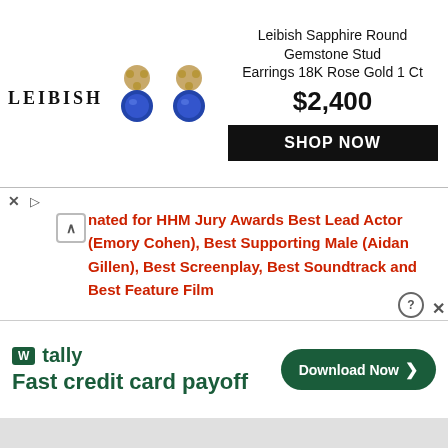[Figure (other): Advertisement banner for Leibish Sapphire Round Gemstone Stud Earrings 18K Rose Gold 1 Ct priced at $2,400 with a SHOP NOW button. Shows LEIBISH logo and product images of two blue sapphire earrings.]
nated for HHM Jury Awards Best Lead Actor (Emory Cohen), Best Supporting Male (Aidan Gillen), Best Screenplay, Best Soundtrack and Best Feature Film
Casper (Emory Cohen) and Dominic (Callan McAuliffe) are fiercely loyal to one another, as they come of age in a small farming town in Maine. During harvest break, Casper is drawn into smuggling drugs across the Canadian border with his outlaw father, Clayton (Aidan Gillen). Meanwhile, Dominic works his final potato harvest, hoping to earn the money he needs to buy a car and take them away from their small town existence. But with Casper’s life unraveling before
[Figure (other): Advertisement banner for Tally app - Fast credit card payoff with a Download Now button in green.]